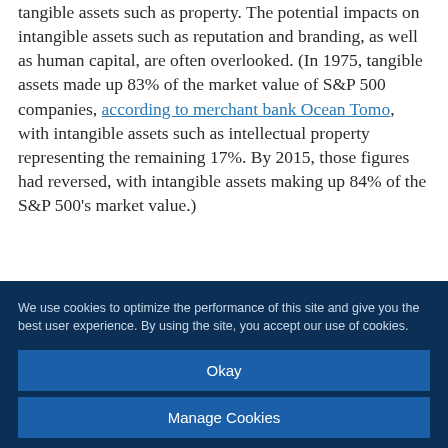tangible assets such as property. The potential impacts on intangible assets such as reputation and branding, as well as human capital, are often overlooked. (In 1975, tangible assets made up 83% of the market value of S&P 500 companies, according to merchant bank Ocean Tomo, with intangible assets such as intellectual property representing the remaining 17%. By 2015, those figures had reversed, with intangible assets making up 84% of the S&P 500's market value.)
We use cookies to optimize the performance of this site and give you the best user experience. By using the site, you accept our use of cookies.
Okay
Manage Cookies